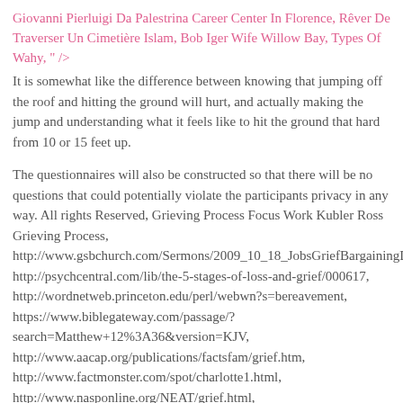Giovanni Pierluigi Da Palestrina Career Center In Florence, Rêver De Traverser Un Cimetière Islam, Bob Iger Wife Willow Bay, Types Of Wahy, " />
It is somewhat like the difference between knowing that jumping off the roof and hitting the ground will hurt, and actually making the jump and understanding what it feels like to hit the ground that hard from 10 or 15 feet up.
The questionnaires will also be constructed so that there will be no questions that could potentially violate the participants privacy in any way. All rights Reserved, Grieving Process Focus Work Kubler Ross Grieving Process,
http://www.gsbchurch.com/Sermons/2009_10_18_JobsGriefBargainingDe
http://psychcentral.com/lib/the-5-stages-of-loss-and-grief/000617,
http://wordnetweb.princeton.edu/perl/webwn?s=bereavement,
https://www.biblegateway.com/passage/?search=Matthew+12%3A36&version=KJV,
http://www.aacap.org/publications/factsfam/grief.htm,
http://www.factmonster.com/spot/charlotte1.html,
http://www.nasponline.org/NEAT/grief.html,
http://www.credoreference.com/entry/nmifp/hypertension,